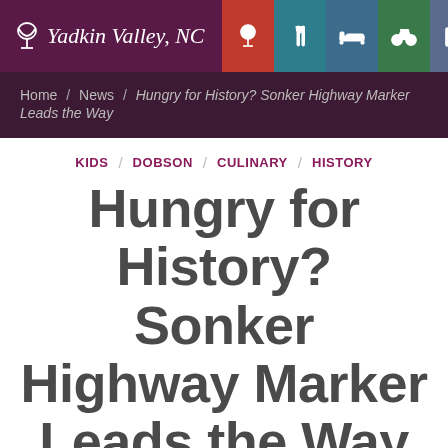Yadkin Valley, NC
Home / News / Hungry for History? Sonker Highway Marker Leads the Way
KIDS / DOBSON / CULINARY / HISTORY
Hungry for History? Sonker Highway Marker Leads the Way
PUBLISHED June 18, 2022